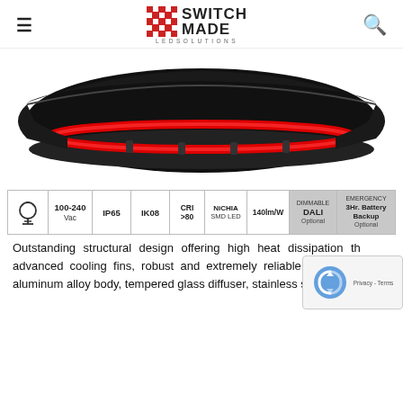Switch Made LED Solutions
[Figure (photo): Bottom view of a round black high-bay LED light fixture with a red LED ring visible around the edge, on a white background.]
| Ground | 100-240 Vac | IP65 | IK08 | CRI >80 | NiCHIA SMD LED | 140lm/W | DIMMABLE DALI Optional | EMERGENCY 3Hr. Battery Backup Optional |
| --- | --- | --- | --- | --- | --- | --- | --- | --- |
|  |
Outstanding structural design offering high heat dissipation through advanced cooling fins, robust and extremely reliable aluminum alloy body, tempered glass diffuser, stainless steel screws...